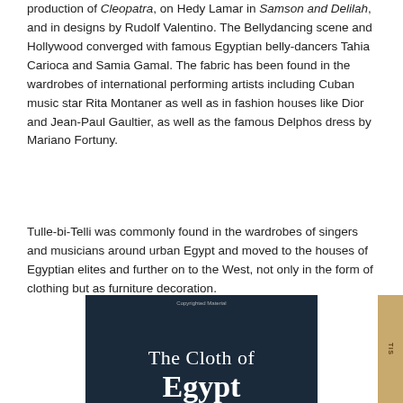production of Cleopatra, on Hedy Lamar in Samson and Delilah, and in designs by Rudolf Valentino. The Bellydancing scene and Hollywood converged with famous Egyptian belly-dancers Tahia Carioca and Samia Gamal. The fabric has been found in the wardrobes of international performing artists including Cuban music star Rita Montaner as well as in fashion houses like Dior and Jean-Paul Gaultier, as well as the famous Delphos dress by Mariano Fortuny.
Tulle-bi-Telli was commonly found in the wardrobes of singers and musicians around urban Egypt and moved to the houses of Egyptian elites and further on to the West, not only in the form of clothing but as furniture decoration.
[Figure (photo): Book cover showing 'The Cloth of Egypt' title text in white on a dark blue/teal background with decorative Egyptian-style patterns]